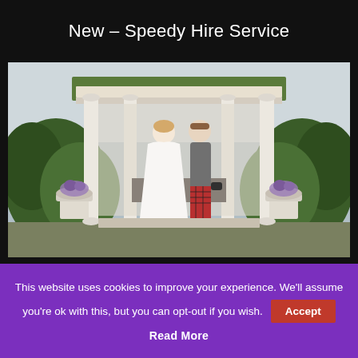New – Speedy Hire Service
[Figure (photo): Wedding photo of a bride in a white ball gown and groom in a grey jacket and red tartan kilt, standing together under a white classical gazebo/pergola with moss-covered roof, flanked by large white stone urns with flowers, surrounded by green hedges and trees.]
This website uses cookies to improve your experience. We'll assume you're ok with this, but you can opt-out if you wish.
Accept
Read More